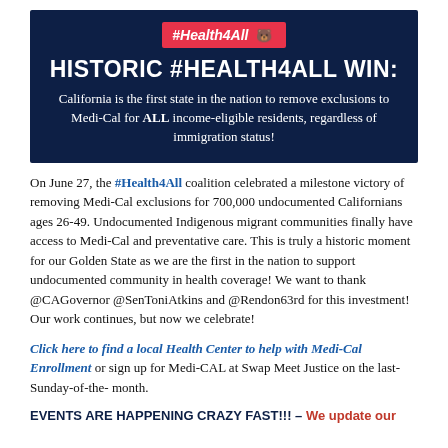[Figure (infographic): Dark navy banner with #Health4All badge (red background) and bear icon, large white bold title 'HISTORIC #HEALTH4ALL WIN:', and white body text stating California is the first state to remove Medi-Cal exclusions for all income-eligible residents regardless of immigration status.]
On June 27, the #Health4All coalition celebrated a milestone victory of removing Medi-Cal exclusions for 700,000 undocumented Californians ages 26-49. Undocumented Indigenous migrant communities finally have access to Medi-Cal and preventative care. This is truly a historic moment for our Golden State as we are the first in the nation to support undocumented community in health coverage! We want to thank @CAGovernor @SenToniAtkins and @Rendon63rd for this investment! Our work continues, but now we celebrate!
Click here to find a local Health Center to help with Medi-Cal Enrollment or sign up for Medi-CAL at Swap Meet Justice on the last-Sunday-of-the- month.
EVENTS ARE HAPPENING CRAZY FAST!!! – We update our